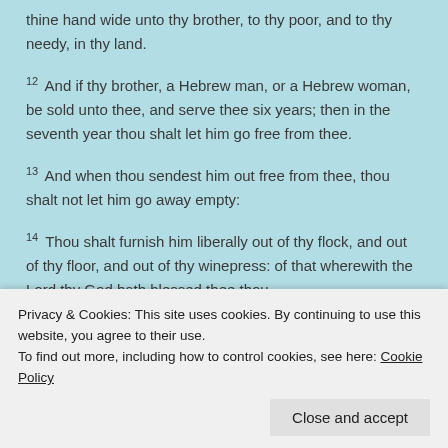thine hand wide unto thy brother, to thy poor, and to thy needy, in thy land.
12 And if thy brother, a Hebrew man, or a Hebrew woman, be sold unto thee, and serve thee six years; then in the seventh year thou shalt let him go free from thee.
13 And when thou sendest him out free from thee, thou shalt not let him go away empty:
14 Thou shalt furnish him liberally out of thy flock, and out of thy floor, and out of thy winepress: of that wherewith the Lord thy God hath blessed thee thou
Privacy & Cookies: This site uses cookies. By continuing to use this website, you agree to their use.
To find out more, including how to control cookies, see here: Cookie Policy
Close and accept
thee: therefore I command thee this thing to day.